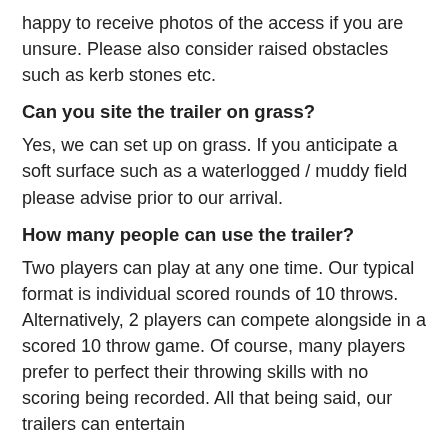happy to receive photos of the access if you are unsure. Please also consider raised obstacles such as kerb stones etc.
Can you site the trailer on grass?
Yes, we can set up on grass. If you anticipate a soft surface such as a waterlogged / muddy field please advise prior to our arrival.
How many people can use the trailer?
Two players can play at any one time. Our typical format is individual scored rounds of 10 throws. Alternatively, 2 players can compete alongside in a scored 10 throw game. Of course, many players prefer to perfect their throwing skills with no scoring being recorded. All that being said, our trailers can entertain